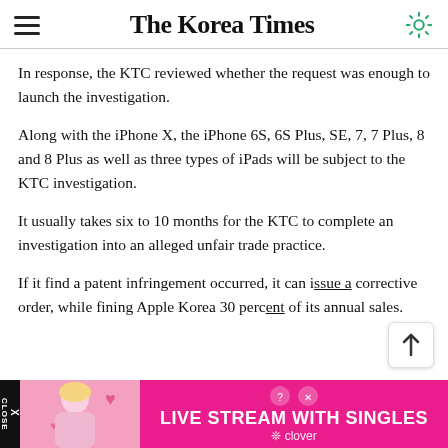The Korea Times
In response, the KTC reviewed whether the request was enough to launch the investigation.
Along with the iPhone X, the iPhone 6S, 6S Plus, SE, 7, 7 Plus, 8 and 8 Plus as well as three types of iPads will be subject to the KTC investigation.
It usually takes six to 10 months for the KTC to complete an investigation into an alleged unfair trade practice.
If it find a patent infringement occurred, it can issue a corrective order, while fining Apple Korea 30 percent of its annual sales.
[Figure (infographic): Advertisement banner: LIVE STREAM WITH SINGLES — clover app ad with pink background and woman photo]